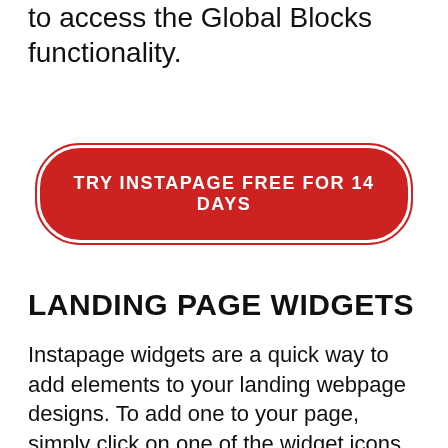to access the Global Blocks functionality.
[Figure (other): Red rounded rectangle button with white text reading TRY INSTAPAGE FREE FOR 14 DAYS]
LANDING PAGE WIDGETS
Instapage widgets are a quick way to add elements to your landing webpage designs. To add one to your page, simply click on one of the widget icons in the Instapage editor's sidebar menu, and it will be dropped onto the canvas.